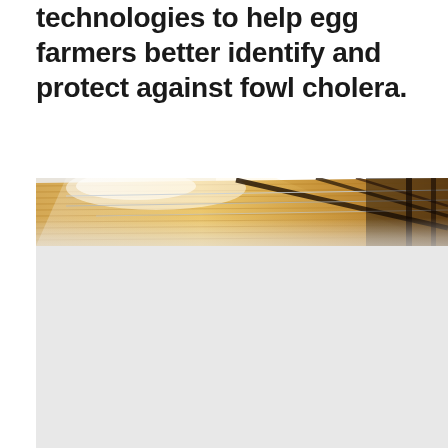technologies to help egg farmers better identify and protect against fowl cholera.
[Figure (photo): Interior of a poultry barn showing the roof structure with warm overhead lighting, metal cables or wires strung across the ceiling, and wooden beams. The bottom portion of the image fades to a light gray.]